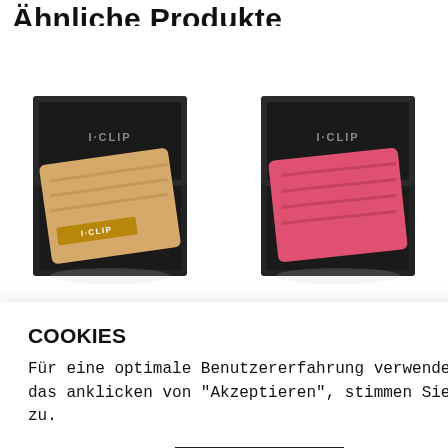Ähnliche Produkte
[Figure (photo): I-Clip wallet in beige/tan color displayed in an open black gift box with I-CLIP branding]
[Figure (photo): I-Clip wallet in pink/red color displayed in an open black gift box with I-CLIP branding]
I-Clip Classic Bindleder
I-Clip Bachen Exklusive
COOKIES
Für eine optimale Benutzererfahrung verwendet diese Webseite Cookies. Durch das anklicken von "Akzeptieren", stimmen Sie der Verwendung dieser Cookies zu.
Einstellungen
Akzeptieren
I-Clip Radio Impact